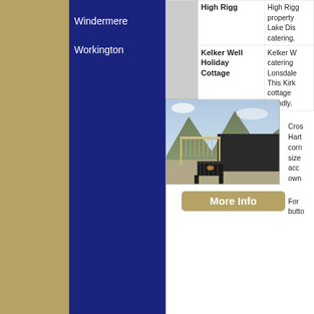Windermere
Workington
|  | Property Name | Description |
| --- | --- | --- |
|  | High Rigg | High Rigg property Lake District catering. |
|  | Kelker Well Holiday Cottage | Kelker Well catering Lonsdale. This Kirk cottage friendly. |
[Figure (photo): Modern dark-clad self-catering cabin/lodge with pergola and fire pit in a mountainous Lake District landscape]
More Info
Cross Hart corn size acco own
For butt